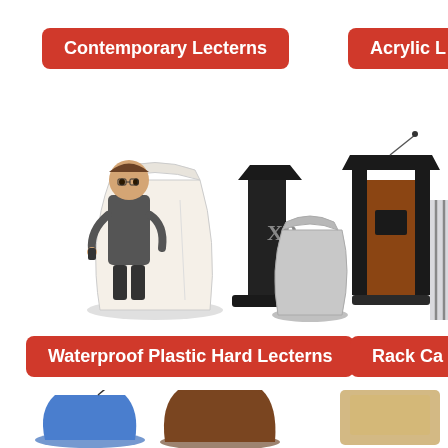Contemporary Lecterns
Acrylic L
[Figure (photo): Product photo showing multiple contemporary lecterns: a white/cream curved lectern with a man standing at it, a tall black church lectern with Chi Rho symbol, a gray curved smaller lectern, and a wood-and-black traditional lectern with microphone. Also partial view of acrylic lectern on right.]
Waterproof Plastic Hard Lecterns
Rack Ca
[Figure (photo): Partial bottom view of additional lecterns: blue lectern on lower left, brown/wood curved lectern in center bottom, and tan/wood lectern on lower right.]